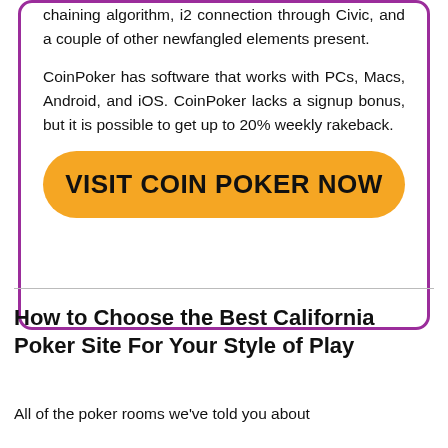chaining algorithm, i2 connection through Civic, and a couple of other newfangled elements present.

CoinPoker has software that works with PCs, Macs, Android, and iOS. CoinPoker lacks a signup bonus, but it is possible to get up to 20% weekly rakeback.
VISIT COIN POKER NOW
How to Choose the Best California Poker Site For Your Style of Play
All of the poker rooms we've told you about